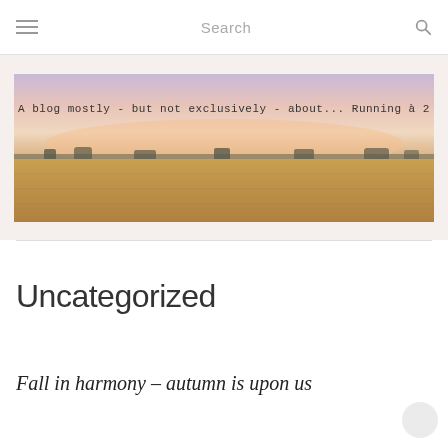Search
[Figure (photo): A wide panoramic banner image of a golden wheat field under a soft pink and purple sunset sky, with text overlay reading: A blog mostly - but not exclusively - about... Running à 2]
Uncategorized
Fall in harmony – autumn is upon us